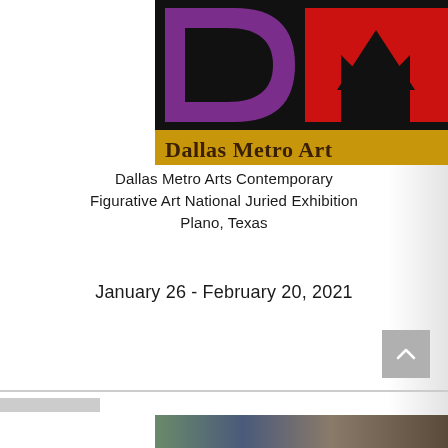[Figure (logo): Dallas Metro Art logo: large purple 'D' shape on black background left half, large red 'M' shape on black background right half, with gold/yellow band at bottom displaying 'Dallas Metro Art' in dark serif text]
Dallas Metro Arts Contemporary Figurative Art National Juried Exhibition Plano, Texas
January 26 - February 20, 2021
[Figure (photo): Bottom strip of artwork images, partially visible, showing figurative art photographs in dark tones]